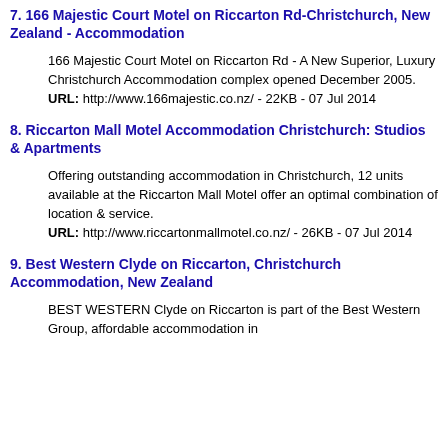7. 166 Majestic Court Motel on Riccarton Rd-Christchurch, New Zealand - Accommodation
166 Majestic Court Motel on Riccarton Rd - A New Superior, Luxury Christchurch Accommodation complex opened December 2005.
URL: http://www.166majestic.co.nz/ - 22KB - 07 Jul 2014
8. Riccarton Mall Motel Accommodation Christchurch: Studios & Apartments
Offering outstanding accommodation in Christchurch, 12 units available at the Riccarton Mall Motel offer an optimal combination of location & service.
URL: http://www.riccartonmallmotel.co.nz/ - 26KB - 07 Jul 2014
9. Best Western Clyde on Riccarton, Christchurch Accommodation, New Zealand
BEST WESTERN Clyde on Riccarton is part of the Best Western Group, affordable accommodation in